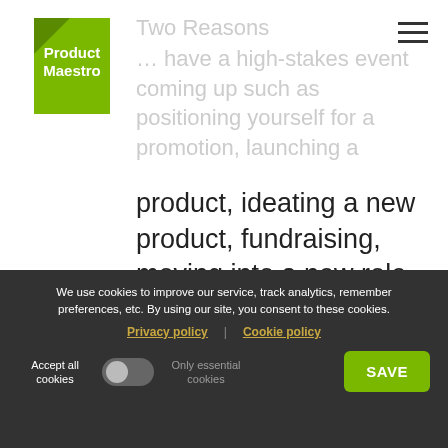[Figure (logo): Product Maestro logo — green diamond/hexagon shape with white text 'Product Maestro']
Two Reasons
… have a high-stakes event coming up such as positioning yourself for a promotion, launching a product, ideating a new product, fundraising, moving into a new role etc.
You are ready to accelerate your career by building your influence
We use cookies to improve our service, track analytics, remember preferences, etc. By using our site, you consent to these cookies.
Privacy policy | Cookie policy
Accept all cookies   Only essential cookies   SAVE